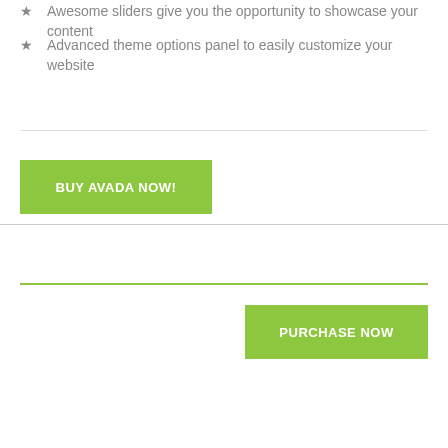Awesome sliders give you the opportunity to showcase your content
Advanced theme options panel to easily customize your website
BUY AVADA NOW!
PURCHASE NOW